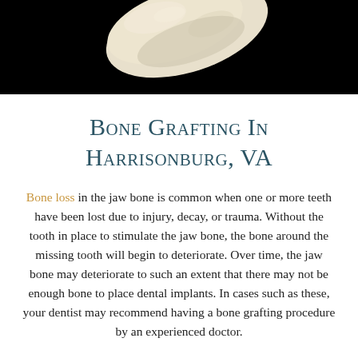[Figure (photo): A 3D rendered image of a jawbone or bone fragment shown against a black background, cream/ivory colored bone visible at top center.]
Bone Grafting In Harrisonburg, VA
Bone loss in the jaw bone is common when one or more teeth have been lost due to injury, decay, or trauma. Without the tooth in place to stimulate the jaw bone, the bone around the missing tooth will begin to deteriorate. Over time, the jaw bone may deteriorate to such an extent that there may not be enough bone to place dental implants. In cases such as these, your dentist may recommend having a bone grafting procedure by an experienced doctor.